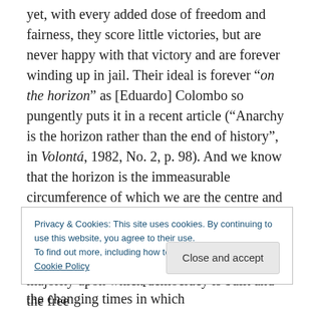yet, with every added dose of freedom and fairness, they score little victories, but are never happy with that victory and are forever winding up in jail. Their ideal is forever “on the horizon” as [Eduardo] Colombo so pungently puts it in a recent article (“Anarchy is the horizon rather than the end of history”, in Volontá, 1982, No. 2, p. 98). And we know that the horizon is the immeasurable circumference of which we are the centre and which changes position the moment we change ours. Embracing this way of thinking about anarchism is the precondition for any realistic view of our position and our task in the changing times in which
Privacy & Cookies: This site uses cookies. By continuing to use this website, you agree to their use.
To find out more, including how to control cookies, see here: Cookie Policy
majority upon which democracy is built and the free